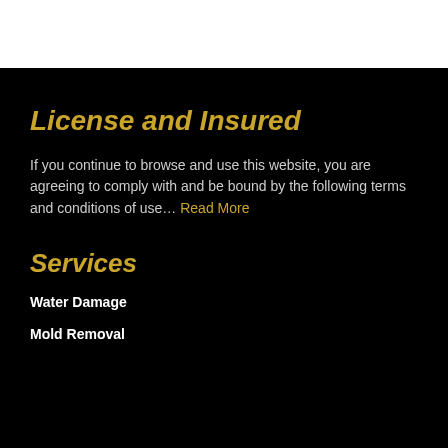License and Insured
If you continue to browse and use this website, you are agreeing to comply with and be bound by the following terms and conditions of use… Read More
Services
Water Damage
Mold Removal